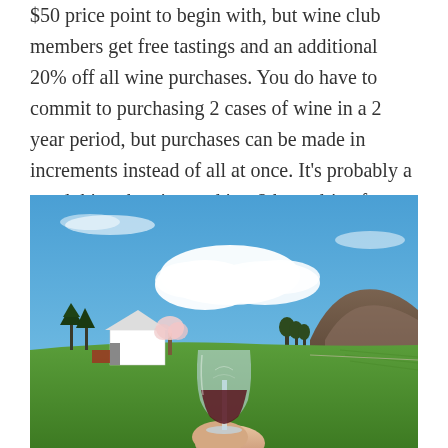$50 price point to begin with, but wine club members get free tastings and an additional 20% off all wine purchases. You do have to commit to purchasing 2 cases of wine in a 2 year period, but purchases can be made in increments instead of all at once. It's probably a good thing the vineyard is a 2 hour drive for us or we might be in trouble!
[Figure (photo): A hand holding a stemless wine glass filled with red wine, with a vineyard landscape in the background featuring green fields, a white barn, blooming trees, evergreen trees, a rocky hilltop, and a blue sky with white clouds.]